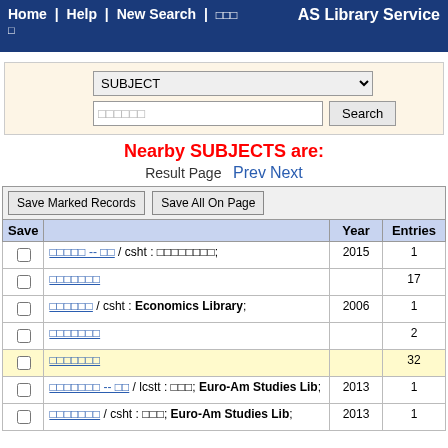Home | Help | New Search | □□□    AS Library Service
|  | SUBJECT dropdown | Search button |
| --- | --- | --- |
|  | □□□□□□ |  |
Nearby SUBJECTS are:
Result Page  Prev Next
| Save |  | Year | Entries |
| --- | --- | --- | --- |
| □ | □□□□□ -- □□ / csht : □□□□□□□□; | 2015 | 1 |
| □ | □□□□□□□ |  | 17 |
| □ | □□□□□□ / csht : Economics Library; | 2006 | 1 |
| □ | □□□□□□□ |  | 2 |
| □ | □□□□□□□ |  | 32 |
| □ | □□□□□□□ -- □□ / lcstt : □□□; Euro-Am Studies Lib; | 2013 | 1 |
| □ | □□□□□□□ / csht : □□□; Euro-Am Studies Lib; | 2013 | 1 |